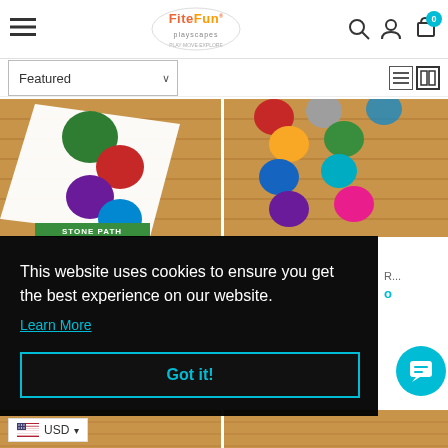FiteFun Playscapes website header with navigation, search, account, and cart icons
[Figure (screenshot): Filter bar with Featured dropdown and list/grid view toggles]
[Figure (photo): Left product image: colorful dot stone path mat on wood floor with green label 'STONE PATH']
[Figure (photo): Right product image: individual colorful dots on wood floor]
This website uses cookies to ensure you get the best experience on our website.
Learn More
Got it!
USD
[Figure (screenshot): Chat bubble icon (teal circle with chat icon)]